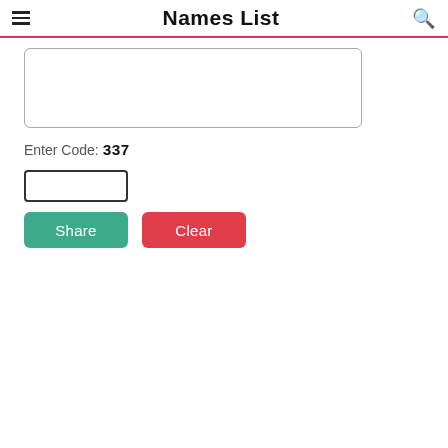Names List
[Figure (screenshot): Textarea input box, empty, with rounded border]
Enter Code: 337
[Figure (screenshot): Small text input box, empty, with dark border]
Share
Clear